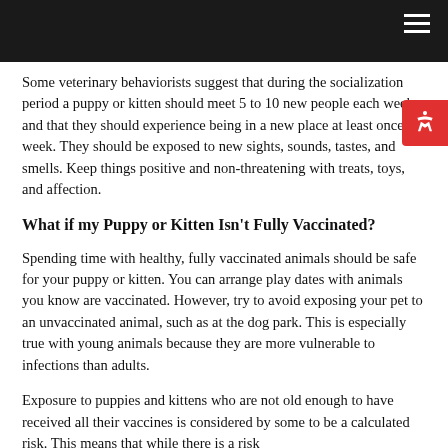Some veterinary behaviorists suggest that during the socialization period a puppy or kitten should meet 5 to 10 new people each week and that they should experience being in a new place at least once a week. They should be exposed to new sights, sounds, tastes, and smells. Keep things positive and non-threatening with treats, toys, and affection.
What if my Puppy or Kitten Isn't Fully Vaccinated?
Spending time with healthy, fully vaccinated animals should be safe for your puppy or kitten. You can arrange play dates with animals you know are vaccinated. However, try to avoid exposing your pet to an unvaccinated animal, such as at the dog park. This is especially true with young animals because they are more vulnerable to infections than adults.
Exposure to puppies and kittens who are not old enough to have received all their vaccines is considered by some to be a calculated risk. This means that while there is a risk for catching a disease, it may not be as much of a...